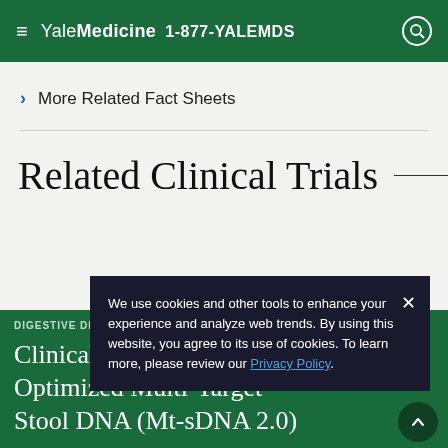Yale Medicine  1-877-YALEMDS
> More Related Fact Sheets
Related Clinical Trials
Clinical Evaluation of An Optimized Multi-Target Stool DNA (Mt-sDNA 2.0)
We use cookies and other tools to enhance your experience and analyze web trends. By using this website, you agree to its use of cookies. To learn more, please review our Privacy Policy.